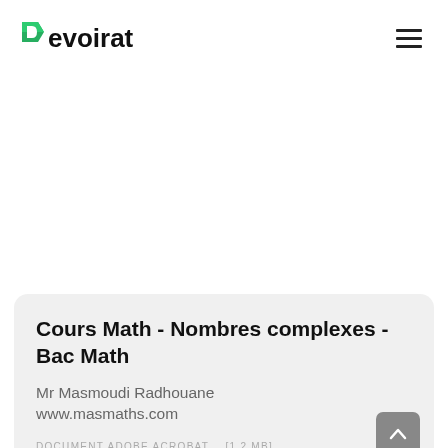Devoirat
Cours Math - Nombres complexes - Bac Math
Mr Masmoudi Radhouane
www.masmaths.com
DOCUMENT ADOBE ACROBAT   [1.2 MB]